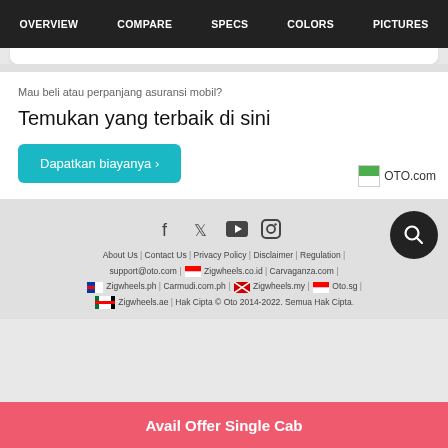OVERVIEW | COMPARE | SPECS | COLORS | PICTURES
Mau beli atau perpanjang asuransi mobil?
Temukan yang terbaik di sini
Dapatkan biayanya >
OTO.com
About Us | Contact Us | Privacy Policy | Disclaimer | Regulation | support@oto.com | Zigwheels.co.id | Carvaganza.com | Zigwheels.ph | Carmudi.com.ph | Zigwheels.my | Oto.sg | Zigwheels.ae | Hak Cipta © Oto 2014-2022. Semua Hak Cipta.
Avail Offer Single Cab